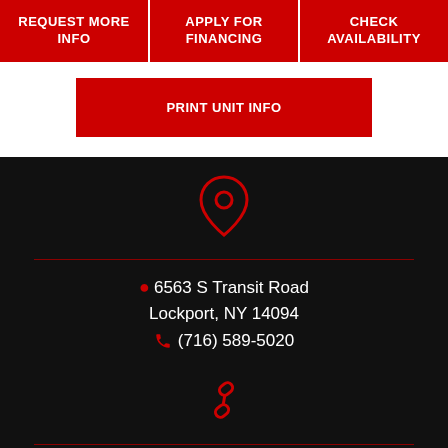REQUEST MORE INFO
APPLY FOR FINANCING
CHECK AVAILABILITY
PRINT UNIT INFO
[Figure (infographic): Map pin / location icon in red outline on dark background]
6563 S Transit Road
Lockport, NY 14094
(716) 589-5020
[Figure (infographic): Chain link / hyperlink icon in red outline on dark background]